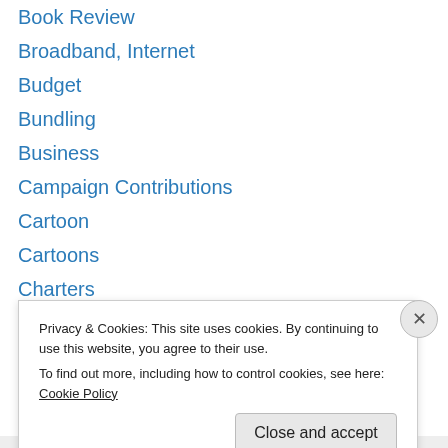Book Review
Broadband, Internet
Budget
Bundling
Business
Campaign Contributions
Cartoon
Cartoons
Charters
Civil Service
Coastal Erosion
Commissions
Computers
Congress
Privacy & Cookies: This site uses cookies. By continuing to use this website, you agree to their use.
To find out more, including how to control cookies, see here: Cookie Policy
Close and accept